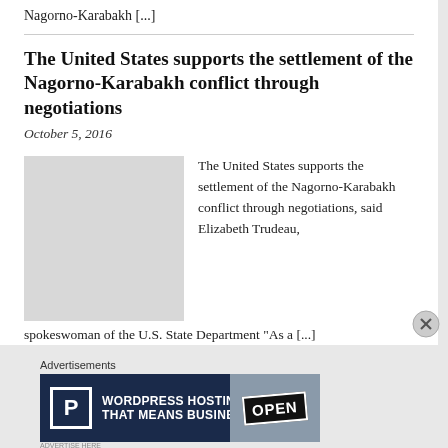Nagorno-Karabakh [...]
The United States supports the settlement of the Nagorno-Karabakh conflict through negotiations
October 5, 2016
[Figure (photo): Gray placeholder image for article thumbnail]
The United States supports the settlement of the Nagorno-Karabakh conflict through negotiations, said Elizabeth Trudeau, spokeswoman of the U.S. State Department “As a [...]
[Figure (other): WordPress Hosting advertisement banner: P icon, text 'WORDPRESS HOSTING THAT MEANS BUSINESS.' with an OPEN sign photo on the right]